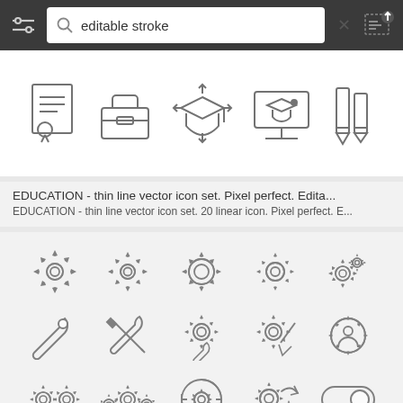[Figure (screenshot): Search interface top bar with filter icon, search field showing 'editable stroke', X button, and upload icon]
[Figure (illustration): Preview strip showing 5 education-related thin line icons: certificate, books/briefcase, graduation cap with arrows, computer with graduation cap, pencils]
EDUCATION - thin line vector icon set. Pixel perfect. Edita...
EDUCATION - thin line vector icon set. 20 linear icon. Pixel perfect. E...
[Figure (illustration): Grid of 15 settings/gear thin line vector icons including gears of various sizes, wrench, crossed tools, gear with wrench, gear with pencil, gear with person, double gears, triple gears, circular arrows gear, gear with arrows, and toggle switch]